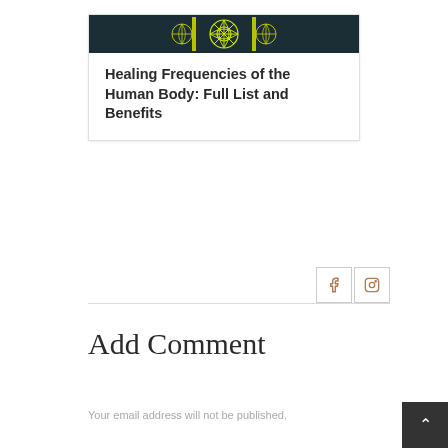[Figure (illustration): Article card with dark teal banner featuring neon yellow geometric pattern, followed by bold article title text]
Healing Frequencies of the Human Body: Full List and Benefits
[Figure (illustration): Two social media icon buttons: Facebook (f) and Instagram (camera) in light bordered boxes]
Add Comment
Your email address will not be published.
[Figure (illustration): Dark grey back-to-top button with upward arrow chevron in bottom-right corner]